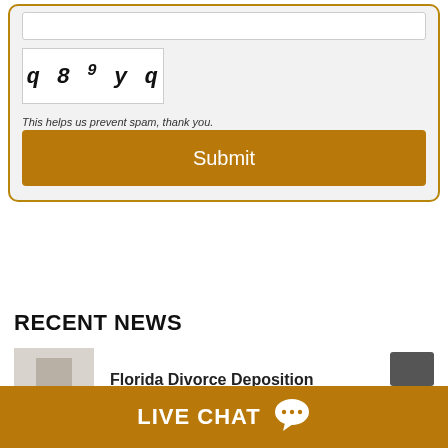[Figure (screenshot): CAPTCHA image showing distorted characters: q 8 9 y q]
This helps us prevent spam, thank you.
Submit
RECENT NEWS
Florida Divorce Deposition
Do Both Parents Need to Consent for Therapy in FL
LIVE CHAT